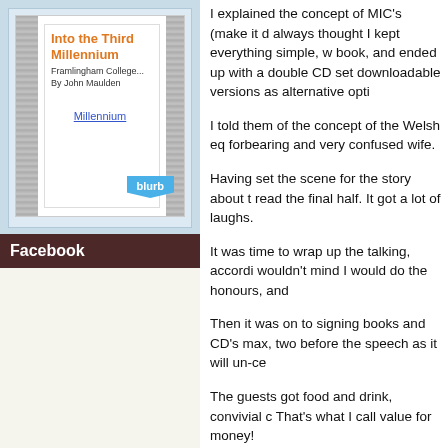[Figure (illustration): Book cover widget for 'Into the Third Millennium' by John Maulden, Framlingham College, with a blurb button and a Millennium overlay link]
Facebook
I explained the concept of MIC's (make it d... always thought I kept everything simple, w... book, and ended up with a double CD set... downloadable versions as alternative opti...
I told them of the concept of the Welsh eq... forbearing and very confused wife.
Having set the scene for the story about t... read the final half. It got a lot of laughs.
It was time to wrap up the talking, accordi... wouldn't mind I would do the honours, and...
Then it was on to signing books and CD's... max, two before the speech as it will un-ce...
The guests got food and drink, convivial c... That's what I call value for money!
The farewells and the best wishes, then, w... 9.15pm.
There it is, and God knows how many mis... done, and it's cost a bit, but I've had contr... act.
Now I have a product to market and, altho...